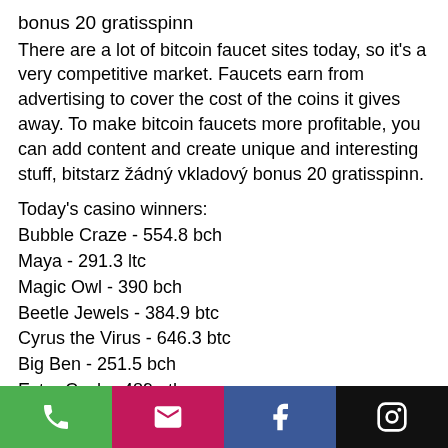bonus 20 gratisspinn
There are a lot of bitcoin faucet sites today, so it's a very competitive market. Faucets earn from advertising to cover the cost of the coins it gives away. To make bitcoin faucets more profitable, you can add content and create unique and interesting stuff, bitstarz žádný vkladový bonus 20 gratisspinn.
Today's casino winners:
Bubble Craze - 554.8 bch
Maya - 291.3 ltc
Magic Owl - 390 bch
Beetle Jewels - 384.9 btc
Cyrus the Virus - 646.3 btc
Big Ben - 251.5 bch
Extra Cash - 489 eth
The Link - 542.4 btc
Golden Goal - 471.8 eth
[Figure (other): Footer bar with four icon buttons: phone (green), email (pink/magenta), Facebook (blue), Instagram (black)]